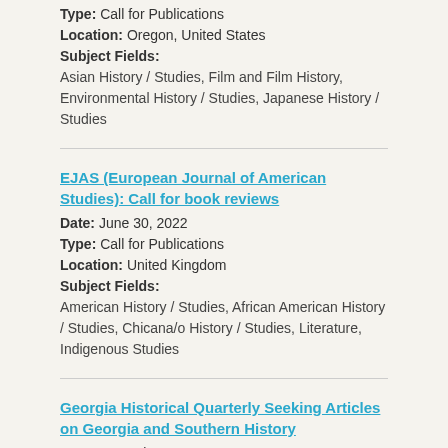Type: Call for Publications
Location: Oregon, United States
Subject Fields:
Asian History / Studies, Film and Film History, Environmental History / Studies, Japanese History / Studies
EJAS (European Journal of American Studies): Call for book reviews
Date: June 30, 2022
Type: Call for Publications
Location: United Kingdom
Subject Fields:
American History / Studies, African American History / Studies, Chicana/o History / Studies, Literature, Indigenous Studies
Georgia Historical Quarterly Seeking Articles on Georgia and Southern History
Date: December 8, 2021
Type: Call for Publications
Subject Fields:
African American History / Studies, American History /